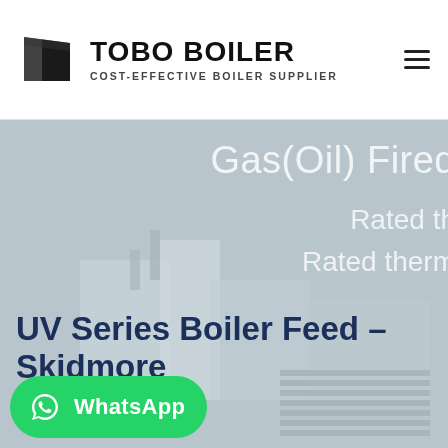[Figure (logo): TOBO BOILER logo with black trapezoid icon and text 'TOBO BOILER' in bold, subtitle 'COST-EFFECTIVE BOILER SUPPLIER']
[Figure (screenshot): Website screenshot showing a hero banner with a boiler product image in grey tones. Text overlay reads 'Gas(Oil) Fired', 'Rated th...', 'Rated therm...' on the right side. Bottom left shows bold dark blue heading 'UV Series Boiler Feed - Skidmore' and a green WhatsApp button.]